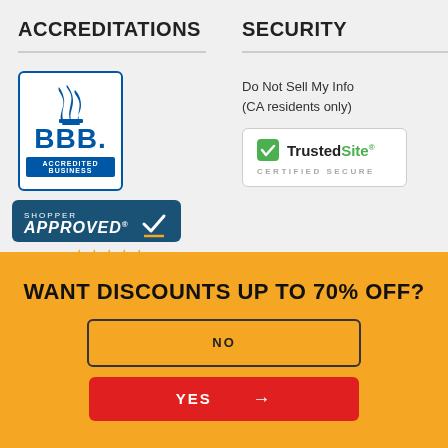ACCREDITATIONS
SECURITY
[Figure (logo): BBB Accredited Business logo — blue flame icon with BBB text and 'ACCREDITED BUSINESS' banner]
Do Not Sell My Info (CA residents only)
[Figure (logo): TrustedSite Certified Secure badge — green checkmark with TrustedSite text and CERTIFIED SECURE label]
[Figure (logo): Shopper Approved badge — dark teal box with Shopper Approved text, checkmark icon, 599K Ratings, and 5 gold stars]
WANT DISCOUNTS UP TO 70% OFF?
NO
YES →